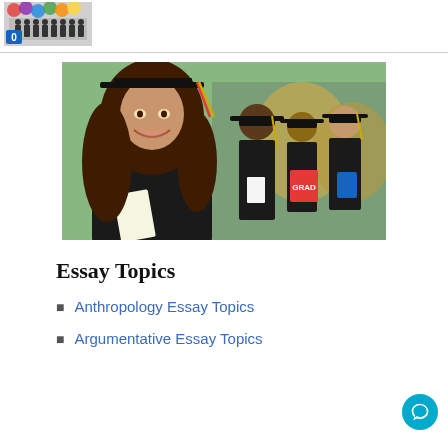[Figure (photo): Small thumbnail image showing silhouettes of people with colorful background and a blue badge showing '0']
[Figure (photo): Graduation photo showing a smiling young woman in black graduation cap and gown holding a diploma, with other graduates in background]
Essay Topics
Anthropology Essay Topics
Argumentative Essay Topics